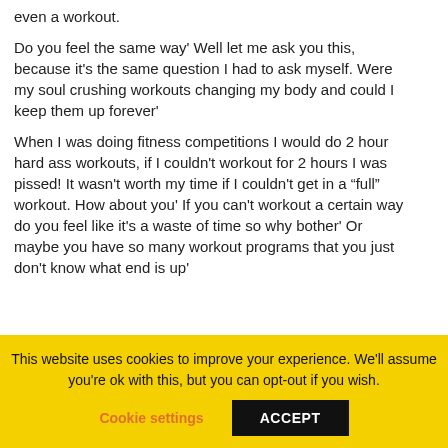even a workout.
Do you feel the same way' Well let me ask you this, because it's the same question I had to ask myself. Were my soul crushing workouts changing my body and could I keep them up forever'
When I was doing fitness competitions I would do 2 hour hard ass workouts, if I couldn't workout for 2 hours I was pissed! It wasn't worth my time if I couldn't get in a “full” workout. How about you' If you can't workout a certain way do you feel like it's a waste of time so why bother' Or maybe you have so many workout programs that you just don't know what end is up'
This website uses cookies to improve your experience. We'll assume you're ok with this, but you can opt-out if you wish.
Cookie settings
ACCEPT